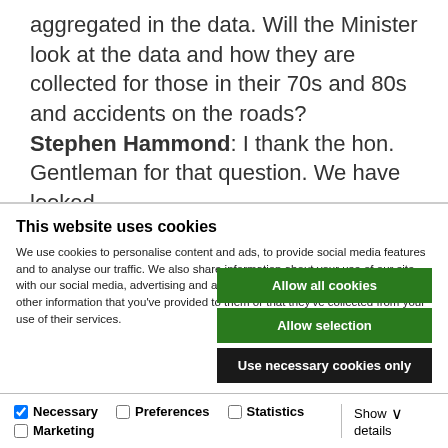aggregated in the data. Will the Minister look at the data and how they are collected for those in their 70s and 80s and accidents on the roads?
Stephen Hammond: I thank the hon. Gentleman for that question. We have looked
This website uses cookies
We use cookies to personalise content and ads, to provide social media features and to analyse our traffic. We also share information about your use of our site with our social media, advertising and analytics partners who may combine it with other information that you've provided to them or that they've collected from your use of their services.
Allow all cookies
Allow selection
Use necessary cookies only
Necessary  Preferences  Statistics  Marketing  Show details